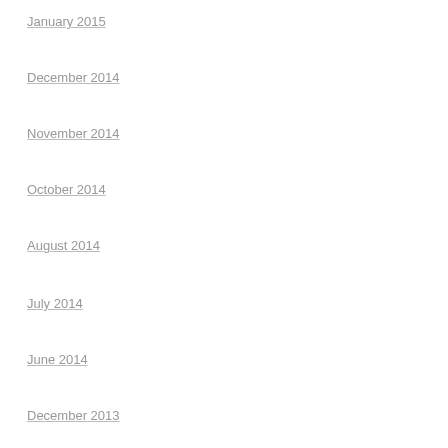January 2015
December 2014
November 2014
October 2014
August 2014
July 2014
June 2014
December 2013
CATEGORIES
Archived
META
Register
Log in